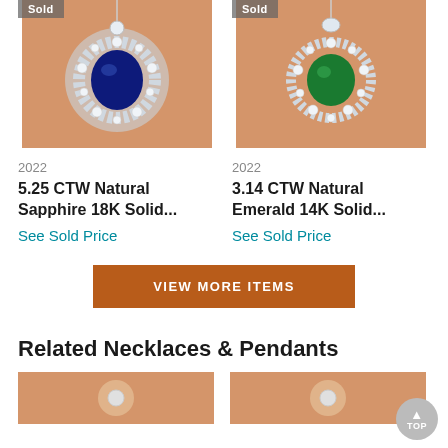[Figure (photo): Sapphire pendant necklace with diamond halo, shown on peach/tan background, with 'Sold' badge in top-left corner]
[Figure (photo): Emerald pendant necklace with diamond halo, shown on peach/tan background, with 'Sold' badge in top-left corner]
2022
2022
5.25 CTW Natural Sapphire 18K Solid...
3.14 CTW Natural Emerald 14K Solid...
See Sold Price
See Sold Price
VIEW MORE ITEMS
Related Necklaces & Pendants
[Figure (photo): Partial view of related necklace/pendant thumbnail on peach background]
[Figure (photo): Partial view of related necklace/pendant thumbnail on peach background]